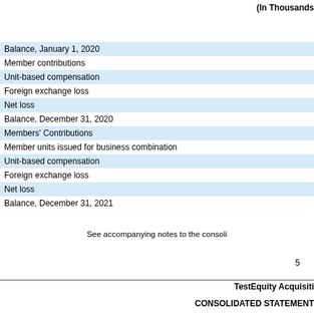(In Thousands
|  |
| --- |
| Balance, January 1, 2020 |
| Member contributions |
| Unit-based compensation |
| Foreign exchange loss |
| Net loss |
| Balance, December 31, 2020 |
| Members' Contributions |
| Member units issued for business combination |
| Unit-based compensation |
| Foreign exchange loss |
| Net loss |
| Balance, December 31, 2021 |
See accompanying notes to the consoli
5
TestEquity Acquisiti
CONSOLIDATED STATEMEN